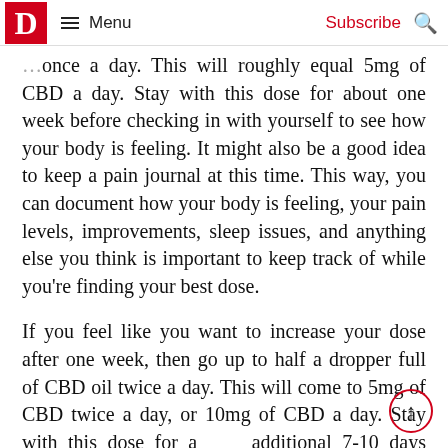D | ☰ Menu | Subscribe | 🔍
…once a day. This will roughly equal 5mg of CBD a day. Stay with this dose for about one week before checking in with yourself to see how your body is feeling. It might also be a good idea to keep a pain journal at this time. This way, you can document how your body is feeling, your pain levels, improvements, sleep issues, and anything else you think is important to keep track of while you're finding your best dose.

If you feel like you want to increase your dose after one week, then go up to half a dropper full of CBD oil twice a day. This will come to 5mg of CBD twice a day, or 10mg of CBD a day. Stay with this dose for an additional 7-10 days before checking in with your